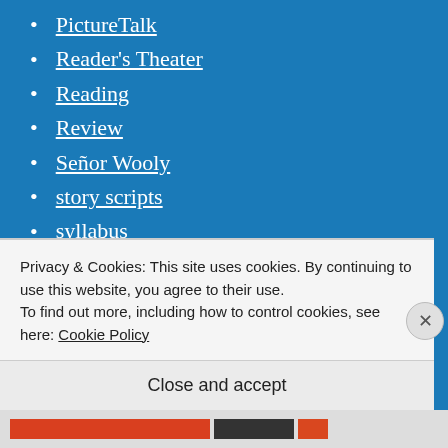PictureTalk
Reader's Theater
Reading
Review
Señor Wooly
story scripts
syllabus
technology
Todo lo que Brilla
twitter
Uncategorized
Privacy & Cookies: This site uses cookies. By continuing to use this website, you agree to their use.
To find out more, including how to control cookies, see here: Cookie Policy
Close and accept